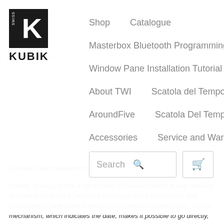[Figure (logo): Swiss Kubik logo — black square with white K letterform and SWISS text, KUBIK wordmark below]
Shop   Catalogue
Masterbox Bluetooth Programming Tutorial
Window Pane Installation Tutorial
About TWI   Scatola del Tempo
AroundFive   Scatola Del Tempo
Accessories   Service and Warranty
calendars are timepieces that can never afford the luxury of a break.
Indeed, to imagine that a component of the mechanism is only required to move once every 4 years is a challenge and a brain teaser that watchmakers have been working on for several hundred years. Such a mechanism, which indicates the date, makes it possible to go directly, whatever the name of the even month, from '30' to '1st' by